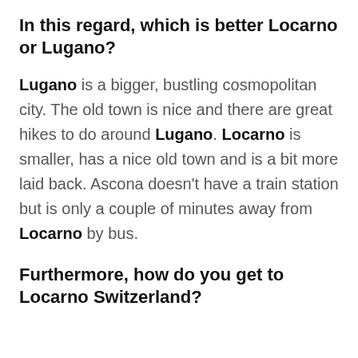In this regard, which is better Locarno or Lugano?
Lugano is a bigger, bustling cosmopolitan city. The old town is nice and there are great hikes to do around Lugano. Locarno is smaller, has a nice old town and is a bit more laid back. Ascona doesn't have a train station but is only a couple of minutes away from Locarno by bus.
Furthermore, how do you get to Locarno Switzerland?